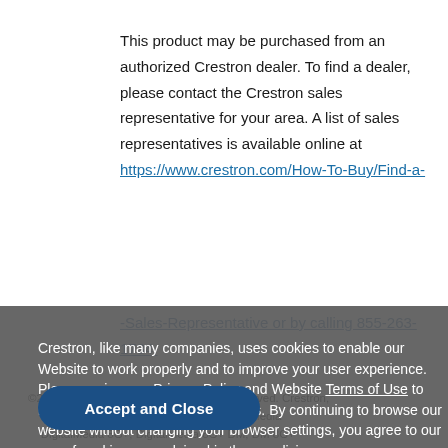This product may be purchased from an authorized Crestron dealer. To find a dealer, please contact the Crestron sales representative for your area. A list of sales representatives is available online at https://www.crestron.com/How-To-Buy/Find-a-Sales-Representative or by calling 855-263-1734.
Crestron, like many companies, uses cookies to enable our Website to work properly and to improve your user experience. Please review our Privacy Policy and Website Terms of Use to learn more about our use of cookies. By continuing to browse our website without changing your browser settings, you agree to our use of cookies as explained in these policies.
©2023 Crestron Electronics, All Rights Reserved. Crestron, ... DigitalMedia, DigitalMedia 8G+, DigitalMedia 8G+ DM, DM 8G+...